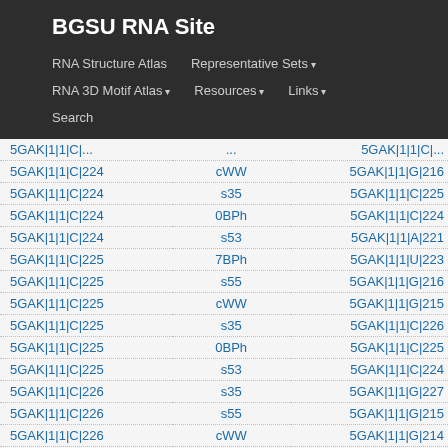BGSU RNA Site
RNA Structure Atlas | Representative Sets ▾ | RNA 3D Motif Atlas ▾ | Resources ▾ | Links ▾ | Search
|  |  |  |
| --- | --- | --- |
| 5GAK|1|1|C|224 | cWW | 5GAK|1|1|G|216 |
| 5GAK|1|1|C|224 | s35 | 5GAK|1|1|C|225 |
| 5GAK|1|1|C|224 | 0BPh | 5GAK|1|1|C|224 |
| 5GAK|1|1|C|224 | s53 | 5GAK|1|1|A|221 |
| 5GAK|1|1|C|225 | 7BPh | 5GAK|1|1|U|223 |
| 5GAK|1|1|C|225 | s55 | 5GAK|1|1|G|216 |
| 5GAK|1|1|C|225 | cWW | 5GAK|1|1|G|215 |
| 5GAK|1|1|C|225 | s35 | 5GAK|1|1|C|226 |
| 5GAK|1|1|C|225 | 0BPh | 5GAK|1|1|C|225 |
| 5GAK|1|1|C|225 | s53 | 5GAK|1|1|C|224 |
| 5GAK|1|1|C|226 | s35 | 5GAK|1|1|G|227 |
| 5GAK|1|1|C|226 | s55 | 5GAK|1|1|G|215 |
| 5GAK|1|1|C|226 | cWW | 5GAK|1|1|G|214 |
| 5GAK|1|1|C|226 | 0BPh | 5GAK|1|1|C|226 |
| 5GAK|1|1|C|226 | s53, n0BR | 5GAK|1|1|C|225 |
| 5GAK|1|1|G|227 | ps35 | 5GAK|1|1|U|228 |